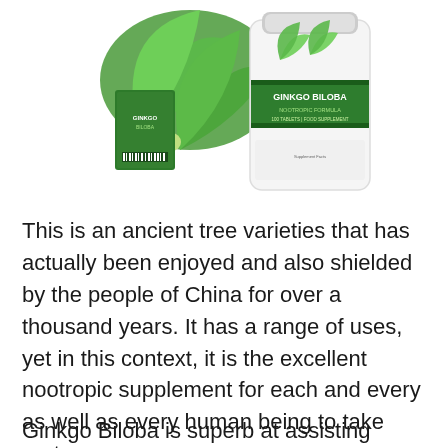[Figure (photo): Ginkgo Biloba supplement product photo showing a green supplement bottle labeled 'GINKGO BILOBA NOOTROPIC FORMULA 100 TABLETS FOOD SUPPLEMENT' with ginkgo leaves and berries in the background, alongside a green product box.]
This is an ancient tree varieties that has actually been enjoyed and also shielded by the people of China for over a thousand years. It has a range of uses, yet in this context, it is the excellent nootropic supplement for each and every as well as every human being to take part.
Ginkgo Biloba is superb at assisting